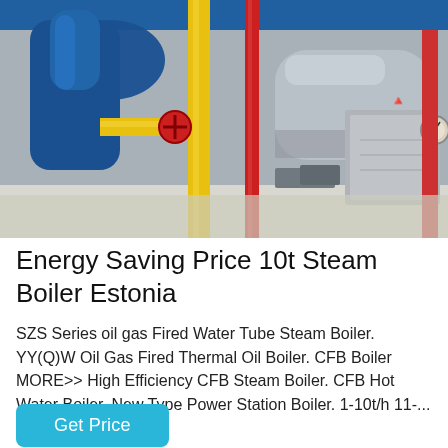[Figure (photo): Industrial boiler room with a large horizontal steam boiler (silver/metallic), prominent blue and yellow pipes, red vertical pipe, and control units. The boiler appears to be a gas-fired water tube type in a factory setting with white floor and grey walls.]
Energy Saving Price 10t Steam Boiler Estonia
SZS Series oil gas Fired Water Tube Steam Boiler. YY(Q)W Oil Gas Fired Thermal Oil Boiler. CFB Boiler MORE>> High Efficiency CFB Steam Boiler. CFB Hot Water Boiler. New Type Power Station Boiler. 1-10t/h 11-...
Get Price